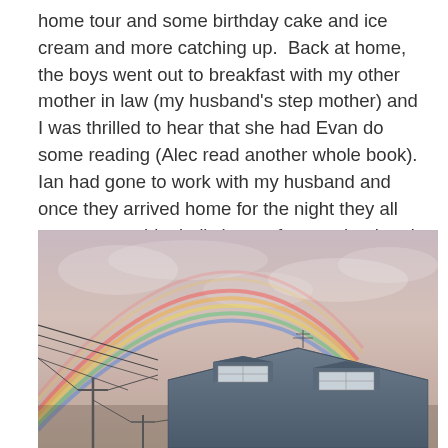home tour and some birthday cake and ice cream and more catching up.  Back at home, the boys went out to breakfast with my other mother in law (my husband's step mother) and I was thrilled to hear that she had Evan do some reading (Alec read another whole book).  Ian had gone to work with my husband and once they arrived home for the night they all went over to his dad's house for spaghetti and meatballs.
[Figure (photo): Outdoor photo at dusk showing a rainbow arching over a rooftop of a house with a blue/grey metal roof and two dormer windows. Power lines cross the scene on the left. The sky is a warm pinkish-grey with soft clouds.]